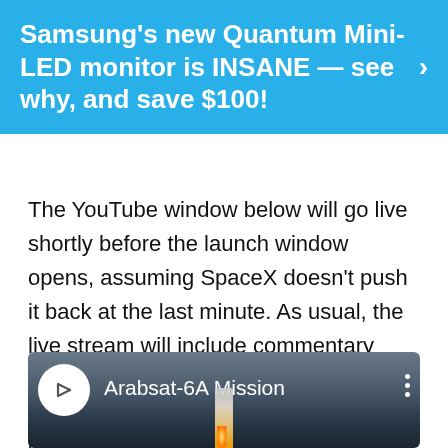[Figure (screenshot): Blue advertisement banner reading: Samsung's new Quantum Mini-LED monitor is INSANE — see why, and save $100! with a right-pointing chevron arrow on the right.]
The YouTube window below will go live shortly before the launch window opens, assuming SpaceX doesn't push it back at the last minute. As usual, the live stream will include commentary from SpaceX staff, along with details about the mission and status of the spacecraft.
[Figure (screenshot): YouTube video embed showing Arabsat-6A Mission with SpaceX logo icon circle, three-dot menu icon, and a rocket launching against a dark sky background with orange flame glow.]